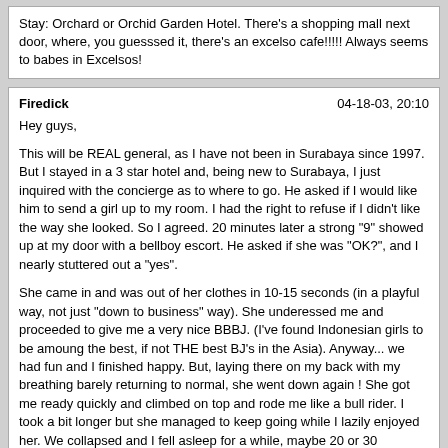Stay: Orchard or Orchid Garden Hotel. There's a shopping mall next door, where, you guesssed it, there's an excelso cafe!!!!! Always seems to babes in Excelsos!
Firedick | 04-18-03, 20:10

Hey guys,

This will be REAL general, as I have not been in Surabaya since 1997. But I stayed in a 3 star hotel and, being new to Surabaya, I just inquired with the concierge as to where to go. He asked if I would like him to send a girl up to my room. I had the right to refuse if I didn't like the way she looked. So I agreed. 20 minutes later a strong "9" showed up at my door with a bellboy escort. He asked if she was "OK?", and I nearly stuttered out a "yes".

She came in and was out of her clothes in 10-15 seconds (in a playful way, not just "down to business" way). She underessed me and proceeded to give me a very nice BBBJ. (I've found Indonesian girls to be amoung the best, if not THE best BJ's in the Asia). Anyway... we had fun and I finished happy. But, laying there on my back with my breathing barely returning to normal, she went down again ! She got me ready quickly and climbed on top and rode me like a bull rider. I took a bit longer but she managed to keep going while I lazily enjoyed her. We collapsed and I fell asleep for a while, maybe 20 or 30 minutes. She awoke me with her mouth on me again ! This is not a BS story I swear. I wasn't really ready for a third so I gently declined offer. She smiled and got dressed.

I can't remember the Rupiah amount I gave her but it equaled around $50 US at that time. She seemed happy with it, kissed me on the cheek and left. I also tipped the concierge $10.

Jeez...sorry guys. I didn't mean to tell a long story, just got on a roll. I merely wanted to suggest the concierge idea.

I also suggest that you look up the local Hash House Harriers. They know the city quite well and their only agenda seems to be beer ! "Firedick" is actually my "Hash name".